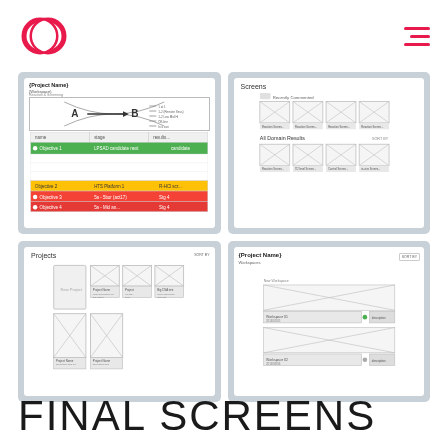[Figure (logo): CD logo in pink/red color, circular shape]
[Figure (screenshot): Four wireframe UI screens in a 2x2 grid showing: 1) Project Name Workspace with A to B diagram and colored table, 2) Screens view with thumbnail grid, 3) Projects view with project cards, 4) Project Name Workspaces with workspace list]
FINAL SCREENS